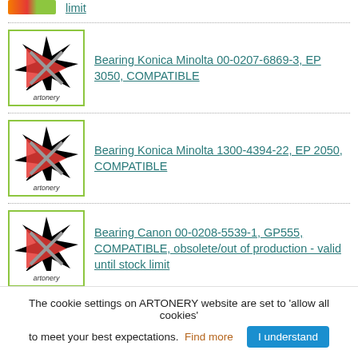limit
Bearing Konica Minolta 00-0207-6869-3, EP 3050, COMPATIBLE
Bearing Konica Minolta 1300-4394-22, EP 2050, COMPATIBLE
Bearing Canon 00-0208-5539-1, GP555, COMPATIBLE, obsolete/out of production - valid until stock limit
Picker Finger Konica Minolta 0966-5770-01, Di30, COMPATIBLE
Product Tags
The cookie settings on ARTONERY website are set to 'allow all cookies' to meet your best expectations. Find more | I understand